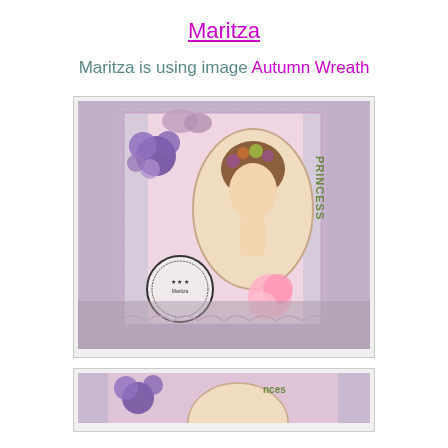Maritza
Maritza is using image Autumn Wreath
[Figure (photo): A handmade craft card featuring a girl with flowers in her hair, purple floral decorations, lace border, 'Princess' text, a stamp circle, and a pink fluffy decoration]
[Figure (photo): Partial view of another handmade craft card with floral decorations, partially visible at the bottom of the page]